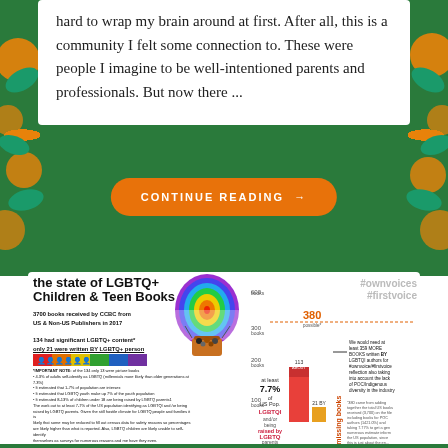hard to wrap my brain around at first. After all, this is a community I felt some connection to. These were people I imagine to be well-intentioned parents and professionals. But now there ...
CONTINUE READING →
[Figure (infographic): Infographic about the state of LGBTQ+ Children & Teen Books. 3700 books received by CCBC from US & Non-US Publishers in 2017. 134 had significant LGBTQ+ content, only 21 were written BY LGBTQ+ person. Features a hot air balloon illustration, bar chart showing 359 missing books, #ownvoices #firstvoice hashtags, and statistics about 7.7% of US population being LGBTQ/raised by LGBTQ parents.]